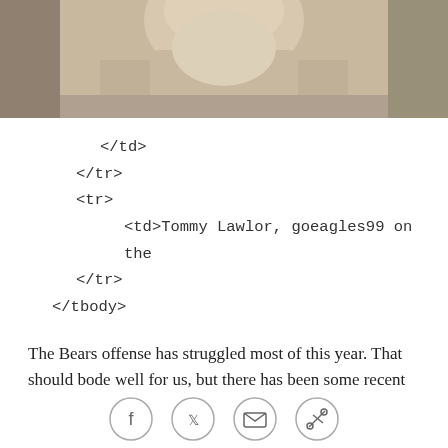[Figure (photo): Partial photo of a person wearing a light yellow/cream colored top, cropped at the top of the page showing face/upper body]
</td>
</tr>
<tr>
    <td>Tommy Lawlor, goeagles99 on the
</tr>
</tbody>
The Bears offense has struggled most of this year. That should bode well for us, but there has been some recent improvement. In the last three games, Chicago has converted more than half of their third downs. That ability to sustain drives has allowed Mike Martz to keep